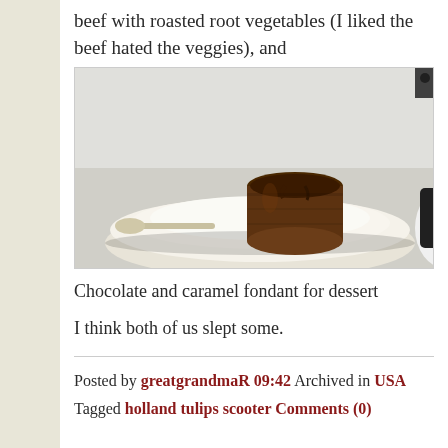beef with roasted root vegetables (I liked the beef hated the veggies), and
[Figure (photo): A chocolate and caramel fondant dessert on a white ceramic plate, photographed on an airplane tray table setting.]
Chocolate and caramel fondant for dessert
I think both of us slept some.
Posted by greatgrandmaR 09:42 Archived in USA
Tagged holland tulips scooter Comments (0)